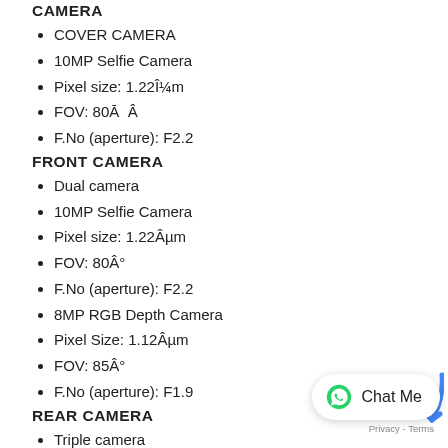CAMERA
COVER CAMERA
10MP Selfie Camera
Pixel size: 1.22Î¼m
FOV: 80Ā  Â
F.No (aperture): F2.2
FRONT CAMERA
Dual camera
10MP Selfie Camera
Pixel size: 1.22Âµm
FOV: 80Â°
F.No (aperture): F2.2
8MP RGB Depth Camera
Pixel Size: 1.12Âµm
FOV: 85Â°
F.No (aperture): F1.9
REAR CAMERA
Triple camera
16MP Ultra Wide Camera